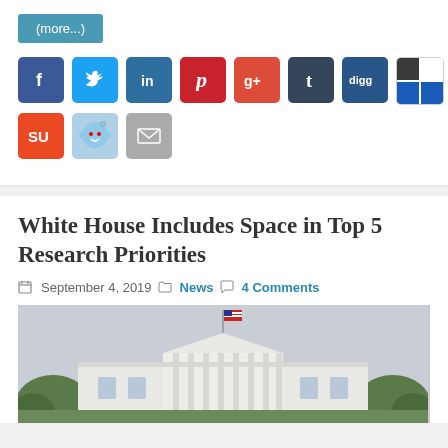(more...)
[Figure (infographic): Row of social media sharing icons: Facebook, Twitter, LinkedIn, Pinterest, Google+, Tumblr, Digg, Delicious, StumbleUpon, Reddit, Email]
White House Includes Space in Top 5 Research Priorities
September 4, 2019  News  4 Comments
[Figure (photo): Photograph of the White House exterior with an American flag flying on top, trees in foreground, overcast sky]